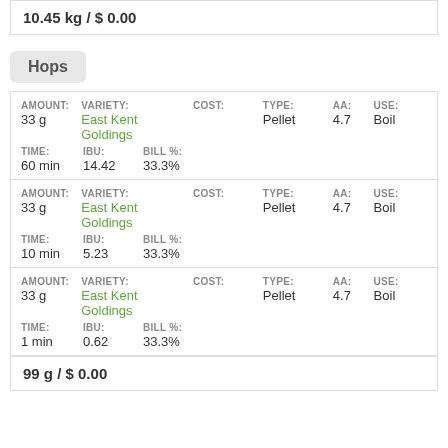10.45 kg / $ 0.00
Hops
| AMOUNT | VARIETY | COST | TYPE | AA | USE | TIME | IBU | BILL % |
| --- | --- | --- | --- | --- | --- | --- | --- | --- |
| 33 g | East Kent Goldings |  | Pellet | 4.7 | Boil | 60 min | 14.42 | 33.3% |
| 33 g | East Kent Goldings |  | Pellet | 4.7 | Boil | 10 min | 5.23 | 33.3% |
| 33 g | East Kent Goldings |  | Pellet | 4.7 | Boil | 1 min | 0.62 | 33.3% |
99 g / $ 0.00